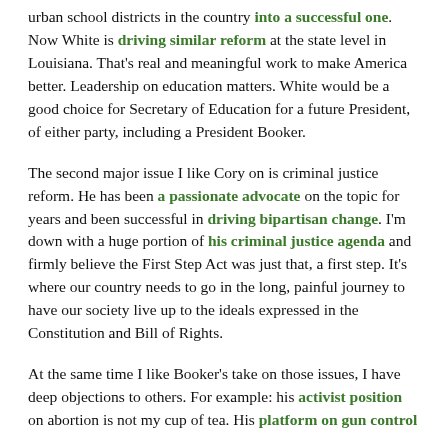urban school districts in the country into a successful one. Now White is driving similar reform at the state level in Louisiana. That's real and meaningful work to make America better. Leadership on education matters. White would be a good choice for Secretary of Education for a future President, of either party, including a President Booker.
The second major issue I like Cory on is criminal justice reform. He has been a passionate advocate on the topic for years and been successful in driving bipartisan change. I'm down with a huge portion of his criminal justice agenda and firmly believe the First Step Act was just that, a first step. It's where our country needs to go in the long, painful journey to have our society live up to the ideals expressed in the Constitution and Bill of Rights.
At the same time I like Booker's take on those issues, I have deep objections to others. For example: his activist position on abortion is not my cup of tea. His platform on gun control